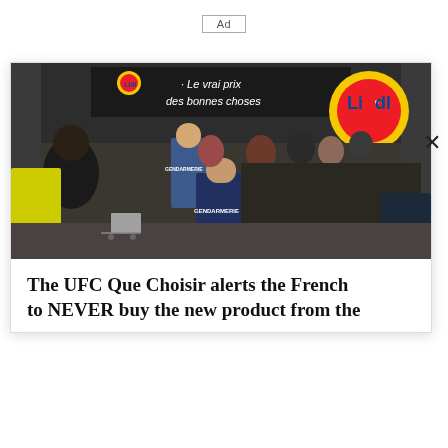Ad
[Figure (photo): Crowd of people outside a Lidl supermarket in France with Gendarmerie police officers managing the crowd. The store facade reads 'Le vrai prix des bonnes choses' and the Lidl logo is visible.]
The UFC Que Choisir alerts the French to NEVER buy the new product from the